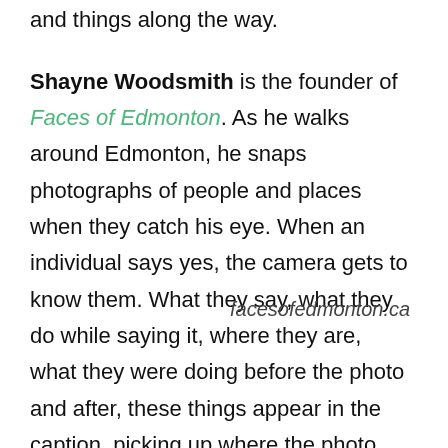and things along the way.
Shayne Woodsmith is the founder of Faces of Edmonton. As he walks around Edmonton, he snaps photographs of people and places when they catch his eye. When an individual says yes, the camera gets to know them. What they say, what they do while saying it, where they are, what they were doing before the photo and after, these things appear in the caption, picking up where the photo left off, capturing the faces of Edmonton, and telling their stories.
facesofedmonton.ca